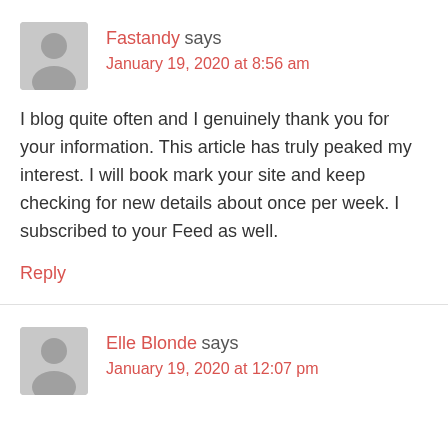Fastandy says
January 19, 2020 at 8:56 am
I blog quite often and I genuinely thank you for your information. This article has truly peaked my interest. I will book mark your site and keep checking for new details about once per week. I subscribed to your Feed as well.
Reply
Elle Blonde says
January 19, 2020 at 12:07 pm